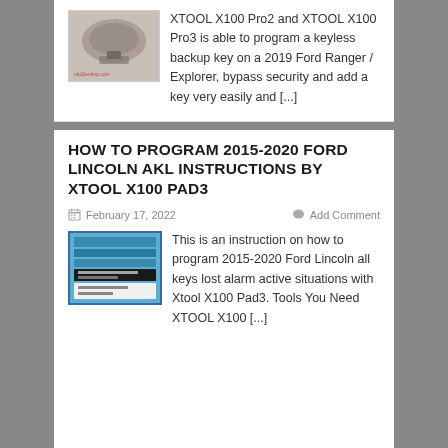[Figure (photo): Thumbnail photo of a car interior showing steering wheel and gear area]
XTOOL X100 Pro2 and XTOOL X100 Pro3 is able to program a keyless backup key on a 2019 Ford Ranger / Explorer, bypass security and add a key very easily and [...]
HOW TO PROGRAM 2015-2020 FORD LINCOLN AKL INSTRUCTIONS BY XTOOL X100 PAD3
February 17, 2022
Add Comment
[Figure (screenshot): Screenshot of a software interface showing a program screen with blue/teal menu items and black/white input areas]
This is an instruction on how to program 2015-2020 Ford Lincoln all keys lost alarm active situations with Xtool X100 Pad3. Tools You Need XTOOL X100 [...]